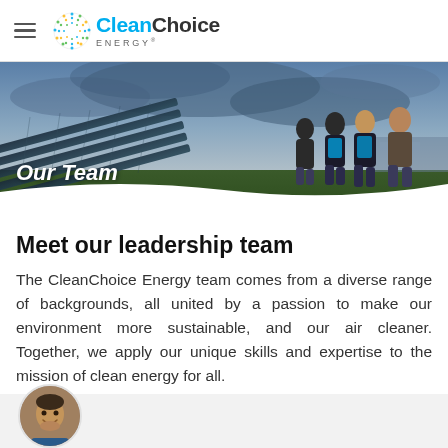CleanChoice Energy – navigation header with hamburger menu and logo
[Figure (photo): Hero banner photo of four people walking near solar panels under a dramatic sky, with 'Our Team' text overlay and a white wave cutout at the bottom]
Meet our leadership team
The CleanChoice Energy team comes from a diverse range of backgrounds, all united by a passion to make our environment more sustainable, and our air cleaner. Together, we apply our unique skills and expertise to the mission of clean energy for all.
[Figure (photo): Partial circular avatar photo of a smiling man, at the bottom of the page in a light gray section]